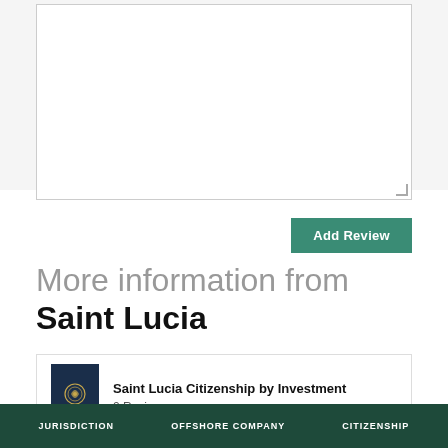[Figure (screenshot): White textarea input box with a resize handle in the bottom-right corner, on a light gray background]
Add Review
More information from Saint Lucia
[Figure (photo): Dark navy blue passport booklet cover with a gold emblem, representing Saint Lucia Citizenship by Investment]
Saint Lucia Citizenship by Investment
0 Reviews
JURISDICTION   OFFSHORE COMPANY   CITIZENSHIP